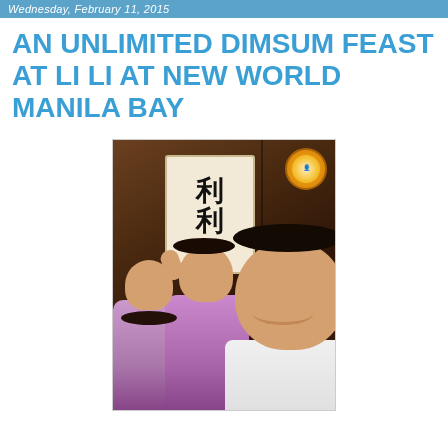Wednesday, February 11, 2015
AN UNLIMITED DIMSUM FEAST AT LI LI AT NEW WORLD MANILA BAY
[Figure (photo): Selfie photo of a man (right), woman (center), and young girl (left) smiling in front of a wooden wall with a sign showing Chinese characters and 'LiLi' text. A circular watermark/logo is visible in the top-right corner of the photo.]